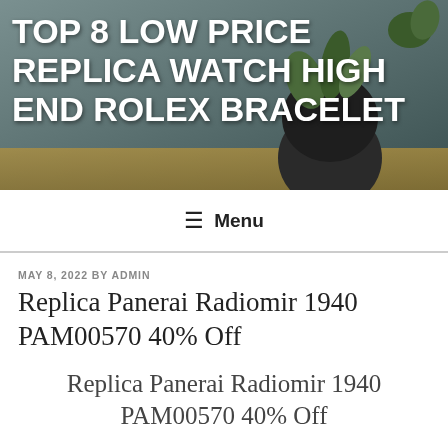[Figure (photo): Hero image showing a plant in a dark pot on a wooden surface, with blurred background]
TOP 8 LOW PRICE REPLICA WATCH HIGH END ROLEX BRACELET
≡ Menu
MAY 8, 2022 BY ADMIN
Replica Panerai Radiomir 1940 PAM00570 40% Off
Replica Panerai Radiomir 1940 PAM00570 40% Off
For a long time, most brands have used magnetization protection to protect soft metal events.